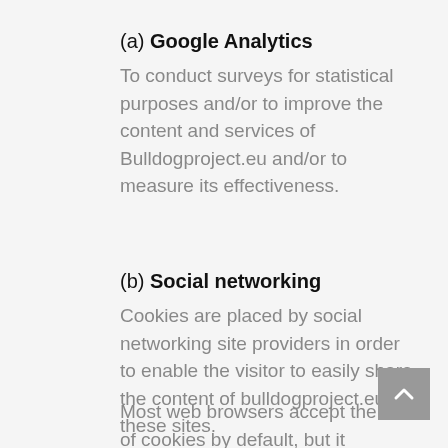(a) Google Analytics
To conduct surveys for statistical purposes and/or to improve the content and services of Bulldogproject.eu and/or to measure its effectiveness.
(b) Social networking
Cookies are placed by social networking site providers in order to enable the visitor to easily share the content of bulldogproject.eu via these sites.
Most web browsers accept the use of cookies by default, but it